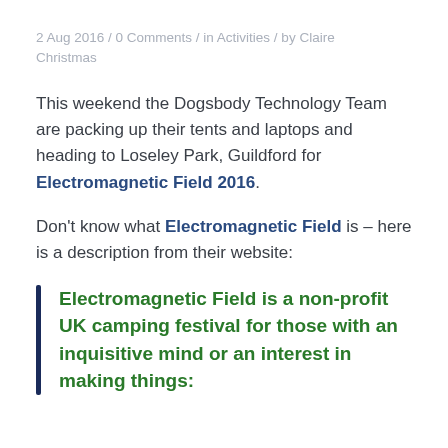2 Aug 2016 / 0 Comments / in Activities / by Claire Christmas
This weekend the Dogsbody Technology Team are packing up their tents and laptops and heading to Loseley Park, Guildford for Electromagnetic Field 2016.
Don't know what Electromagnetic Field is – here is a description from their website:
Electromagnetic Field is a non-profit UK camping festival for those with an inquisitive mind or an interest in making things: